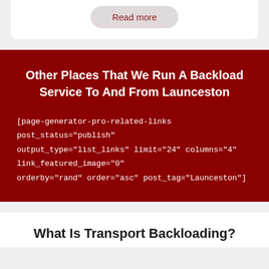Read more
Other Places That We Run A Backload Service To And From Launceston
[page-generator-pro-related-links post_status="publish" output_type="list_links" limit="24" columns="4" link_featured_image="0" orderby="rand" order="asc" post_tag="Launceston"]
What Is Transport Backloading?